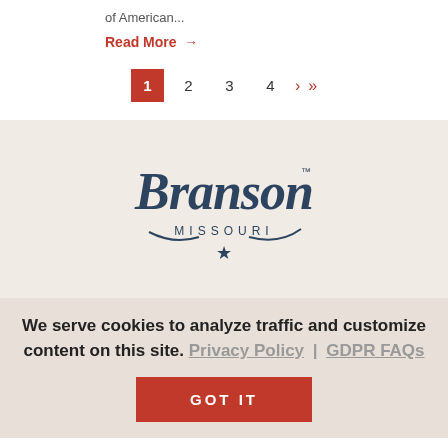of American...
Read More →
1 2 3 4 > >>
[Figure (logo): Branson Missouri logo in dark navy cursive script with star and trademark symbol]
We serve cookies to analyze traffic and customize content on this site. Privacy Policy | GDPR FAQs
GOT IT